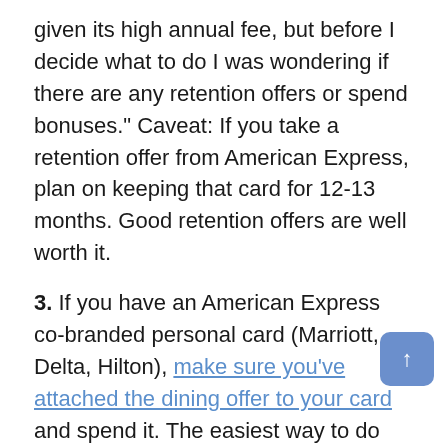given its high annual fee, but before I decide what to do I was wondering if there are any retention offers or spend bonuses." Caveat: If you take a retention offer from American Express, plan on keeping that card for 12-13 months. Good retention offers are well worth it.
3. If you have an American Express co-branded personal card (Marriott, Delta, Hilton), make sure you've attached the dining offer to your card and spend it. The easiest way to do this from home seems to be to buy an exact value DoorDash gift card on Fluz, which will should code correctly as grocery. Amazon Meals is another decent option. As always, find a Fluz referral from a friend to make their day if you don't have an account already.
4. Spend any American Express co-branded business card wireless credits. I prepay my cell phone bill with this